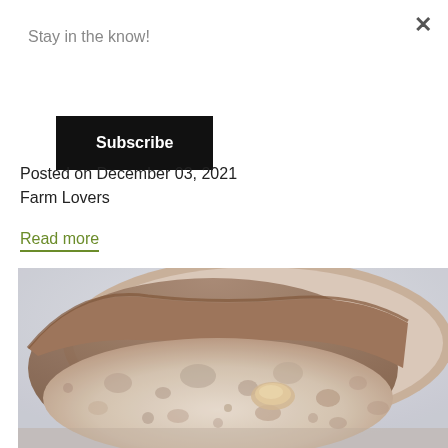×
Stay in the know!
Subscribe
Posted on December 03, 2021
Farm Lovers
Read more
[Figure (photo): Close-up photo of sliced sourdough bread showing the porous interior crumb structure with a brown crust, light grey-blue background]